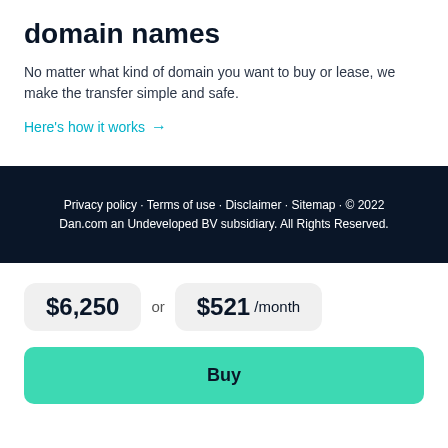domain names
No matter what kind of domain you want to buy or lease, we make the transfer simple and safe.
Here's how it works →
Privacy policy · Terms of use · Disclaimer · Sitemap · © 2022 Dan.com an Undeveloped BV subsidiary. All Rights Reserved.
$6,250 or $521 /month
Buy